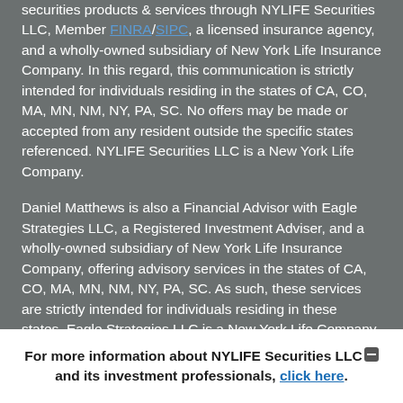securities products & services through NYLIFE Securities LLC, Member FINRA/SIPC, a licensed insurance agency, and a wholly-owned subsidiary of New York Life Insurance Company. In this regard, this communication is strictly intended for individuals residing in the states of CA, CO, MA, MN, NM, NY, PA, SC. No offers may be made or accepted from any resident outside the specific states referenced. NYLIFE Securities LLC is a New York Life Company.
Daniel Matthews is also a Financial Advisor with Eagle Strategies LLC, a Registered Investment Adviser, and a wholly-owned subsidiary of New York Life Insurance Company, offering advisory services in the states of CA, CO, MA, MN, NM, NY, PA, SC. As such, these services are strictly intended for individuals residing in these states. Eagle Strategies LLC is a New York Life Company.
High Peaks Wealth Strategies, LLC is not owned or operated by NYLIFE Securities LLC, Eagle Strategies LLC or any of
For more information about NYLIFE Securities LLC and its investment professionals, click here.